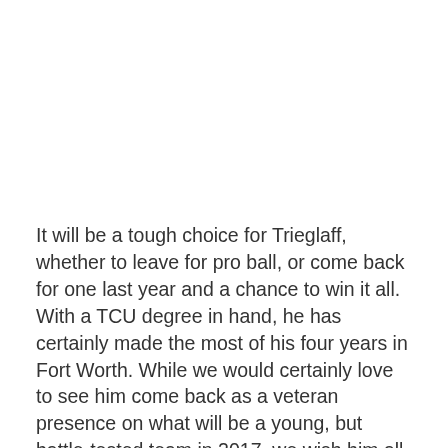It will be a tough choice for Trieglaff, whether to leave for pro ball, or come back for one last year and a chance to win it all. With a TCU degree in hand, he has certainly made the most of his four years in Fort Worth. While we would certainly love to see him come back as a veteran presence on what will be a young, but battle-tested team in 2017, we wish him all the best in whatever choice he makes. Brian will absolutely have a long career ahead in pro ball, whether it begins this